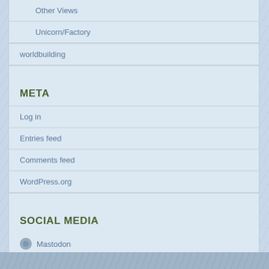Other Views
Unicorn/Factory
worldbuilding
META
Log in
Entries feed
Comments feed
WordPress.org
SOCIAL MEDIA
Mastodon